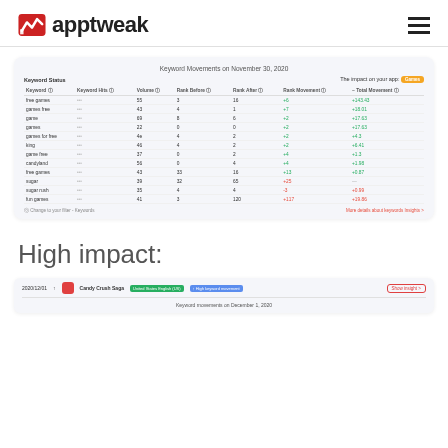[Figure (logo): AppTweak logo with red zigzag icon and bold wordmark]
[Figure (screenshot): AppTweak keyword movements table screenshot showing keyword data for November 30, 2020 with columns: Keyword, Keyword Hits, Volume, Rank Before, Rank After, Rank Movement, Total Movement for keywords like free games, games free, game, games, games for free, king, game free, candyland, free games, sugar, sugar rush, fun games]
High impact:
[Figure (screenshot): AppTweak bottom strip showing Candy Crush Saga app with keyword movement insights for December 1, 2020]